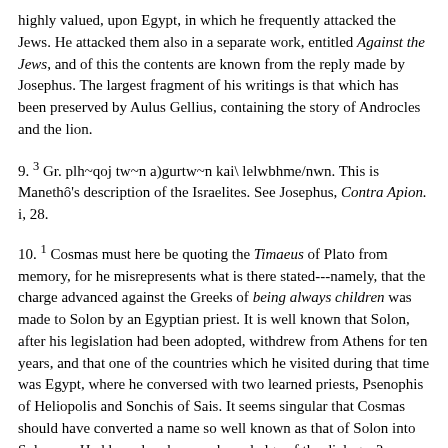highly valued, upon Egypt, in which he frequently attacked the Jews. He attacked them also in a separate work, entitled Against the Jews, and of this the contents are known from the reply made by Josephus. The largest fragment of his writings is that which has been preserved by Aulus Gellius, containing the story of Androcles and the lion.
9. 3 Gr. plh~qoj tw~n a)gurtw~n kai\ lelwbhme/nwn. This is Manethô's description of the Israelites. See Josephus, Contra Apion. i, 28.
10. 1 Cosmas must here be quoting the Timaeus of Plato from memory, for he misrepresents what is there stated---namely, that the charge advanced against the Greeks of being always children was made to Solon by an Egyptian priest. It is well known that Solon, after his legislation had been adopted, withdrew from Athens for ten years, and that one of the countries which he visited during that time was Egypt, where he conversed with two learned priests, Psenophis of Heliopolis and Sonchis of Sais. It seems singular that Cosmas should have converted a name so well known as that of Solon into Solomon. Had he only a hearsay knowledge of the dialogue?
11. 1 Gr. no&moj. The laws of Solon were called no&moi, those of Draco qesmoi/.